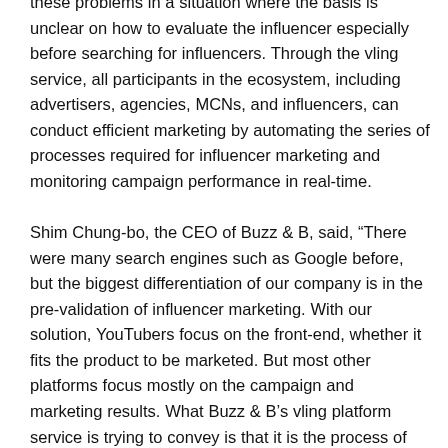these problems in a situation where the basis is unclear on how to evaluate the influencer especially before searching for influencers. Through the vling service, all participants in the ecosystem, including advertisers, agencies, MCNs, and influencers, can conduct efficient marketing by automating the series of processes required for influencer marketing and monitoring campaign performance in real-time.
Shim Chung-bo, the CEO of Buzz & B, said, “There were many search engines such as Google before, but the biggest differentiation of our company is in the pre-validation of influencer marketing. With our solution, YouTubers focus on the front-end, whether it fits the product to be marketed. But most other platforms focus mostly on the campaign and marketing results. What Buzz & B’s vling platform service is trying to convey is that it is the process of buttoning the first button of influencer marketing, and this first button must be the button that all t…